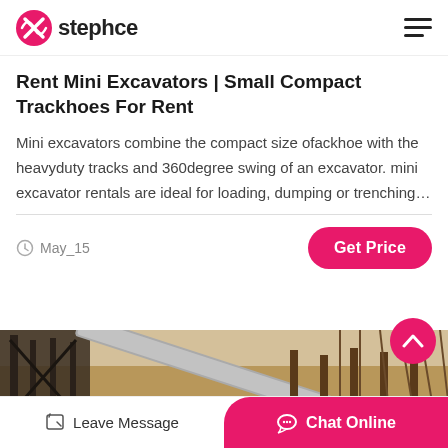stephce
Rent Mini Excavators | Small Compact Trackhoes For Rent
Mini excavators combine the compact size ofackhoe with the heavyduty tracks and 360degree swing of an excavator. mini excavator rentals are ideal for loading, dumping or trenching…
May_15
[Figure (photo): Construction site photo showing metal scaffolding, rebar, and a conveyor belt structure on sandy ground]
Leave Message
Chat Online